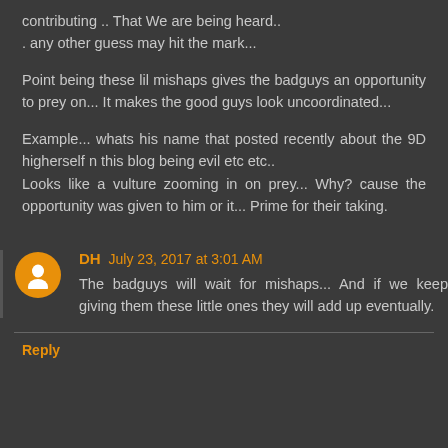contributing .. That We are being heard.. . any other guess may hit the mark...
Point being these lil mishaps gives the badguys an opportunity to prey on... It makes the good guys look uncoordinated...
Example... whats his name that posted recently about the 9D higherself n this blog being evil etc etc..
Looks like a vulture zooming in on prey... Why? cause the opportunity was given to him or it... Prime for their taking.
DH July 23, 2017 at 3:01 AM
The badguys will wait for mishaps... And if we keep giving them these little ones they will add up eventually.
Reply